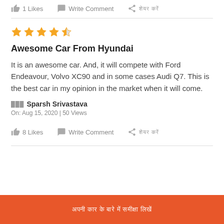1 Likes   Write Comment   [share]
[Figure (other): Star rating: 4.5 out of 5 stars (4 full stars and 1 half star, orange colored)]
Awesome Car From Hyundai
It is an awesome car. And, it will compete with Ford Endeavour, Volvo XC90 and in some cases Audi Q7. This is the best car in my opinion in the market when it will come.
Sparsh Srivastava
On: Aug 15, 2020 | 50 Views
8 Likes   Write Comment   [share]
[Orange button with Hindi/regional text]